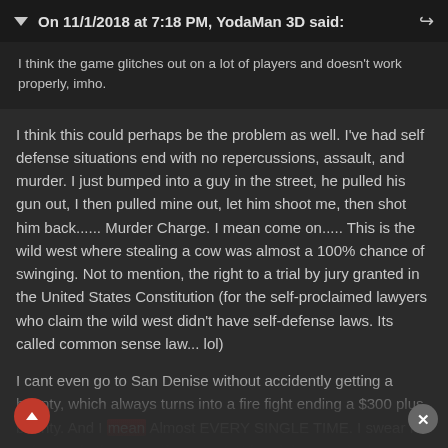On 11/1/2018 at 7:18 PM, YodaMan 3D said:
I think the game glitches out on a lot of players and doesn't work properly, imho.
I think this could perhaps be the problem as well. I've had self defense situations end with no repercussions, assault, and murder. I just bumped into a guy in the street, he pulled his gun out, I then pulled mine out, let him shoot me, then shot him back...... Murder Charge. I mean come on..... This is the wild west where stealing a cow was almost a 100% chance of swinging. Not to mention, the right to a trial by jury granted in the United States Constitution (for the self-proclaimed lawyers who claim the wild west didn't have self-defense laws. Its called common sense law... lol)
I cant even go to San Denise without accidently getting a bounty, which always turns into a fire fight ending a $300 plus bounty. And I mean Almost EVERY SINGLE TIME. I swear I only step in that town if required. When john says he hates that town in the epilogue I 100% feel him. Never in my life have I hated a town in a video game so much. I HATE SAN DENISE!!!!